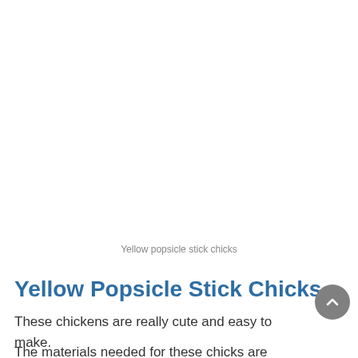Yellow popsicle stick chicks
Yellow Popsicle Stick Chicks
These chickens are really cute and easy to make.
The materials needed for these chicks are